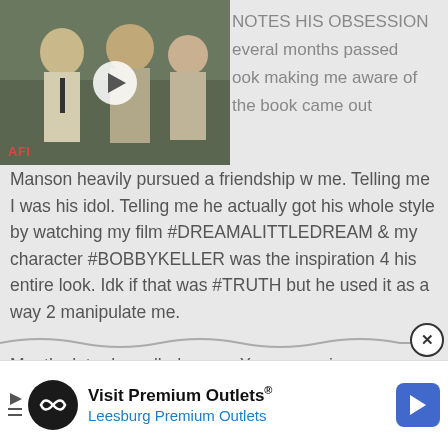[Figure (screenshot): Video thumbnail of a film scene with two men, AFI label at bottom left, with a play button overlay]
NOTES HIS OBSESSION
everal months passed
ook making me aware of
the book came out
Manson heavily pursued a friendship w me. Telling me I was his idol. Telling me he actually got his whole style by watching my film #DREAMALITTLEDREAM & my character #BOBBYKELLER was the inspiration 4 his entire look. Idk if that was #TRUTH but he used it as a way 2 manipulate me.

Months later he called me on Xmas morning
[Figure (other): Advertisement banner for Visit Premium Outlets / Leesburg Premium Outlets with logo, play icon, and arrow icon]